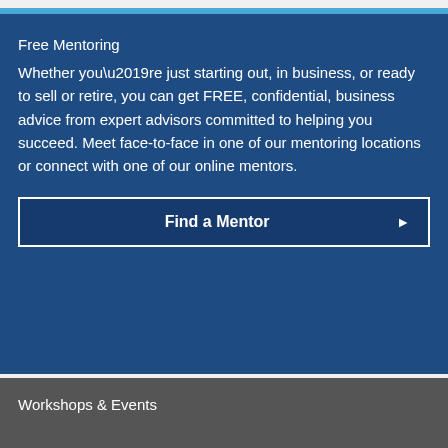Free Mentoring
Whether you’re just starting out, in business, or ready to sell or retire, you can get FREE, confidential, business advice from expert advisors committed to helping you succeed. Meet face-to-face in one of our mentoring locations or connect with one of our online mentors.
Find a Mentor ►
Workshops & Events